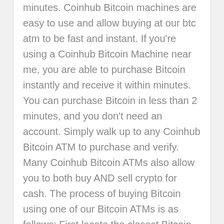minutes. Coinhub Bitcoin machines are easy to use and allow buying at our btc atm to be fast and instant. If you're using a Coinhub Bitcoin Machine near me, you are able to purchase Bitcoin instantly and receive it within minutes. You can purchase Bitcoin in less than 2 minutes, and you don't need an account. Simply walk up to any Coinhub Bitcoin ATM to purchase and verify. Many Coinhub Bitcoin ATMs also allow you to both buy AND sell crypto for cash. The process of buying Bitcoin using one of our Bitcoin ATMs is as follows: First locate the closest Bitcoin ATM near you in your city by visiting our Coinhub Bitcoin ATM Locator. Walk up to the machine and enter your phone number. The machine will verify your phone using a code and scan the bitcoin wallet. Enter each bill one at a time to determine the amount you wish to purchase. After that, confirm the purchase by entering the bitcoin atm. Bitcoin is then instantly sent to your wallet. The daily